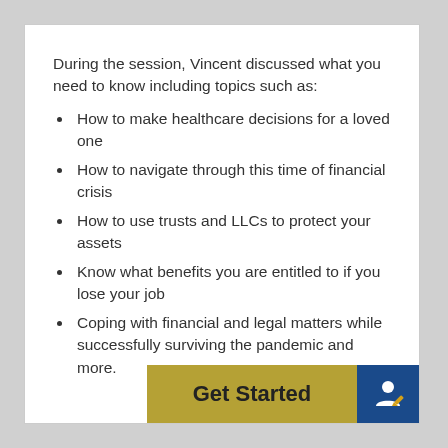During the session, Vincent discussed what you need to know including topics such as:
How to make healthcare decisions for a loved one
How to navigate through this time of financial crisis
How to use trusts and LLCs to protect your assets
Know what benefits you are entitled to if you lose your job
Coping with financial and legal matters while successfully surviving the pandemic and more.